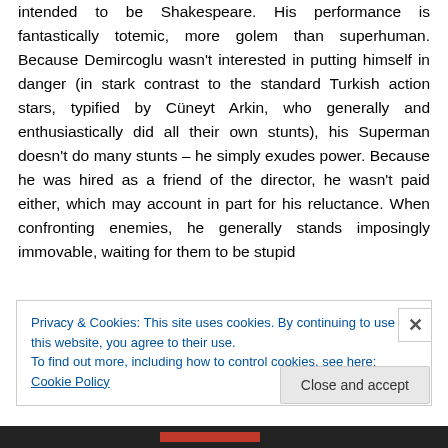intended to be Shakespeare. His performance is fantastically totemic, more golem than superhuman. Because Demircoglu wasn't interested in putting himself in danger (in stark contrast to the standard Turkish action stars, typified by Cüneyt Arkin, who generally and enthusiastically did all their own stunts), his Superman doesn't do many stunts – he simply exudes power. Because he was hired as a friend of the director, he wasn't paid either, which may account in part for his reluctance. When confronting enemies, he generally stands imposingly immovable, waiting for them to be stupid
Privacy & Cookies: This site uses cookies. By continuing to use this website, you agree to their use.
To find out more, including how to control cookies, see here: Cookie Policy
Close and accept